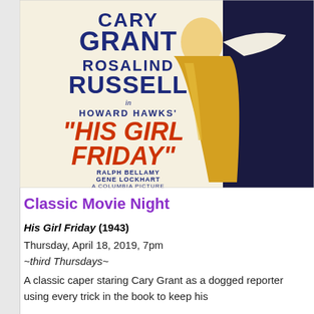[Figure (photo): Movie poster for 'His Girl Friday' (1940) showing Cary Grant and Rosalind Russell. Large bold text reads: CARY GRANT, ROSALIND RUSSELL, in HOWARD HAWKS' 'HIS GIRL FRIDAY' with RALPH BELLAMY, GENE LOCKHART. A COLUMBIA PICTURE.]
Classic Movie Night
His Girl Friday (1943)
Thursday, April 18, 2019, 7pm
~third Thursdays~
A classic caper staring Cary Grant as a dogged reporter using every trick in the book to keep his